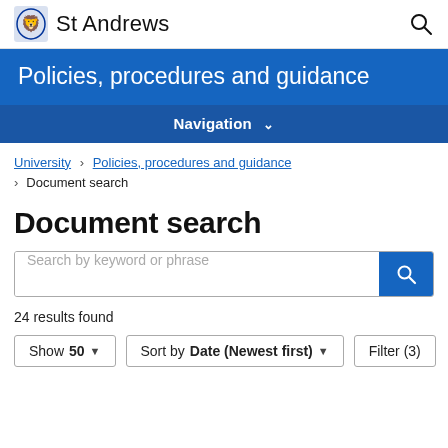St Andrews
Policies, procedures and guidance
Navigation
University > Policies, procedures and guidance > Document search
Document search
Search by keyword or phrase
24 results found
Show 50   Sort by Date (Newest first)   Filter (3)